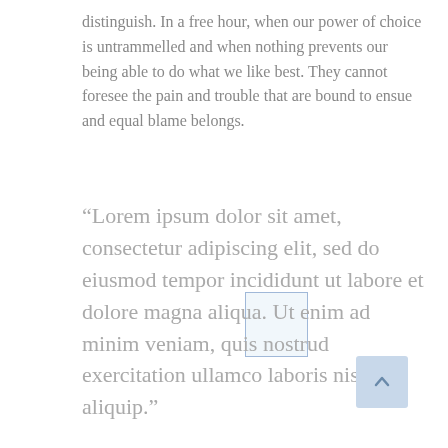distinguish. In a free hour, when our power of choice is untrammelled and when nothing prevents our being able to do what we like best. They cannot foresee the pain and trouble that are bound to ensue and equal blame belongs.
“Lorem ipsum dolor sit amet, consectetur adipiscing elit, sed do eiusmod tempor incididunt ut labore et dolore magna aliqua. Ut enim ad minim veniam, quis nostrud exercitation ullamco laboris nisi ut aliquip.”